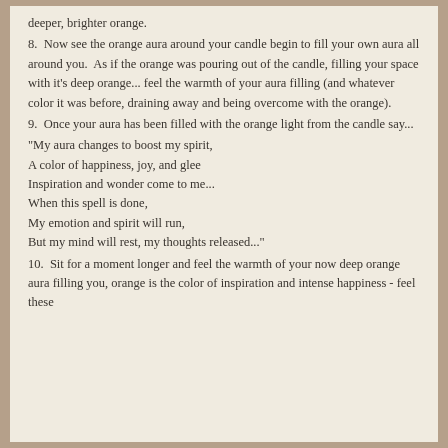deeper, brighter orange.
8.  Now see the orange aura around your candle begin to fill your own aura all around you.  As if the orange was pouring out of the candle, filling your space with it's deep orange... feel the warmth of your aura filling (and whatever color it was before, draining away and being overcome with the orange).
9.  Once your aura has been filled with the orange light from the candle say...
"My aura changes to boost my spirit,
A color of happiness, joy, and glee
Inspiration and wonder come to me...
When this spell is done,
My emotion and spirit will run,
But my mind will rest, my thoughts released..."
10.  Sit for a moment longer and feel the warmth of your now deep orange aura filling you, orange is the color of inspiration and intense happiness - feel these